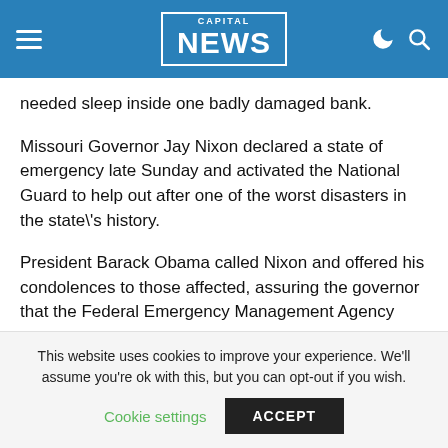CAPITAL NEWS
needed sleep inside one badly damaged bank.
Missouri Governor Jay Nixon declared a state of emergency late Sunday and activated the National Guard to help out after one of the worst disasters in the state\'s history.
President Barack Obama called Nixon and offered his condolences to those affected, assuring the governor that the Federal Emergency Management Agency (FEMA) would provide whatever assistance was needed.
[The president also directed FEMA Administrator Craig...
This website uses cookies to improve your experience. We'll assume you're ok with this, but you can opt-out if you wish.
Cookie settings   ACCEPT